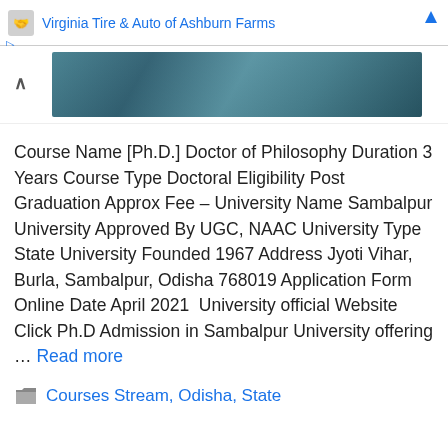Virginia Tire & Auto of Ashburn Farms
[Figure (photo): Partial teal/blue textured image, partially visible at top of page, with a chevron-up icon on the left]
Course Name [Ph.D.] Doctor of Philosophy Duration 3 Years Course Type Doctoral Eligibility Post Graduation Approx Fee – University Name Sambalpur University Approved By UGC, NAAC University Type State University Founded 1967 Address Jyoti Vihar, Burla, Sambalpur, Odisha 768019 Application Form Online Date April 2021  University official Website Click Ph.D Admission in Sambalpur University offering … Read more
Courses Stream, Odisha, State